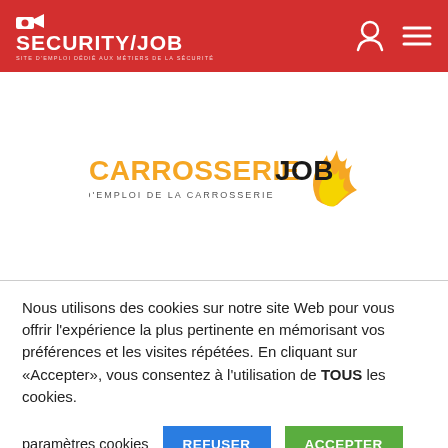SECURITY/JOB — SITE D'EMPLOI DÉDIÉ AUX MÉTIERS DE LA SÉCURITÉ
[Figure (logo): CarrosserieJOB logo with flame graphic and tagline '1er site d'emploi de la carrosserie']
Nous utilisons des cookies sur notre site Web pour vous offrir l'expérience la plus pertinente en mémorisant vos préférences et les visites répétées. En cliquant sur «Accepter», vous consentez à l'utilisation de TOUS les cookies.
paramètres cookies   REFUSER   ACCEPTER